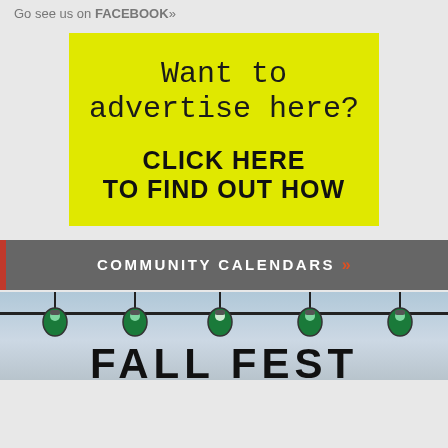Go see us on FACEBOOK»
[Figure (infographic): Yellow advertisement box with text 'Want to advertise here?' in typewriter font and 'CLICK HERE TO FIND OUT HOW' in bold black sans-serif below]
COMMUNITY CALENDARS »
[Figure (photo): Photo strip showing hanging string lights/bulbs against a sky background with partial large bold text at bottom reading 'FAL...' (fall festival)]